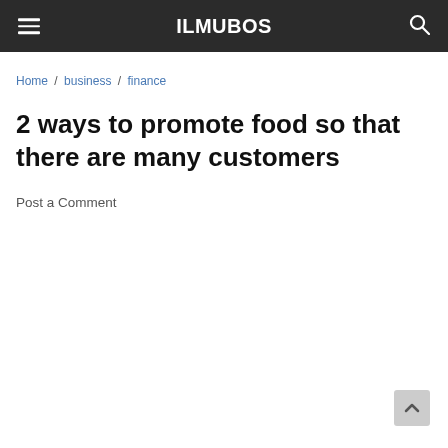ILMUBOS
Home / business / finance
2 ways to promote food so that there are many customers
Post a Comment